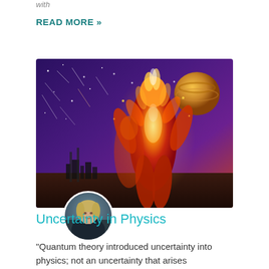with
READ MORE »
[Figure (illustration): Artistic illustration of a fiery humanoid figure standing in a cosmic landscape with sparks, planets, and a purple night sky with a city silhouette in the background.]
[Figure (photo): Circular avatar photo of a woman with short blonde hair, seated, looking at the camera.]
Uncertainty in Physics
“Quantum theory introduced uncertainty into physics; not an uncertainty that arises